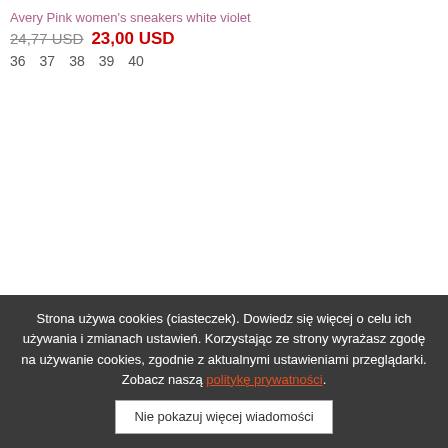Avery Pink women's sneakers white violet
24,77 USD  23,00 USD
36  37  38  39  40
[Figure (other): Loading spinner made of purple circles of varying sizes arranged in a diagonal pattern]
Strona używa cookies (ciasteczek). Dowiedz się więcej o celu ich używania i zmianach ustawień. Korzystając ze strony wyrażasz zgodę na używanie cookies, zgodnie z aktualnymi ustawieniami przeglądarki. Zobacz naszą politykę prywatności.
Nie pokazuj więcej wiadomości